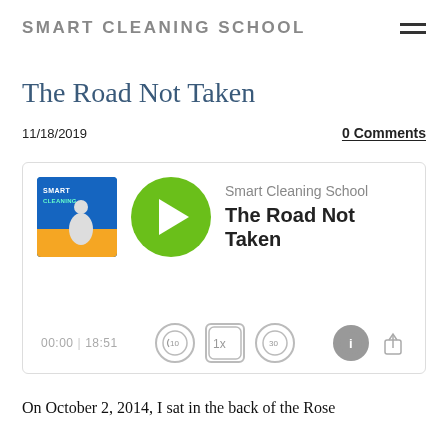SMART CLEANING SCHOOL
The Road Not Taken
11/18/2019
0 Comments
[Figure (other): Podcast player widget showing Smart Cleaning School podcast episode 'The Road Not Taken'. Includes podcast artwork thumbnail, green play button, episode title, time display 00:00 | 18:51, and playback controls (rewind 10, 1x speed, forward 30, info, share).]
On October 2, 2014, I sat in the back of the Rose